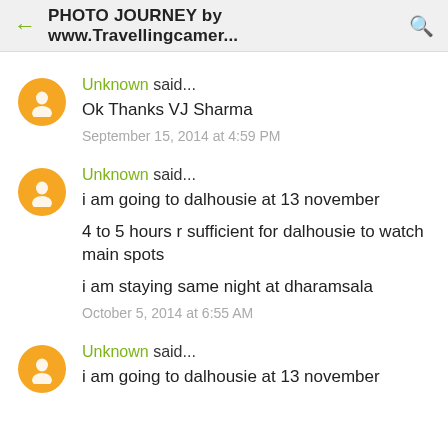PHOTO JOURNEY by www.Travellingcamer...
Unknown said... Ok Thanks VJ Sharma
September 15, 2014 at 4:59 PM
Unknown said... i am going to dalhousie at 13 november
4 to 5 hours r sufficient for dalhousie to watch main spots
i am staying same night at dharamsala
October 5, 2014 at 6:55 AM
Unknown said... i am going to dalhousie at 13 november